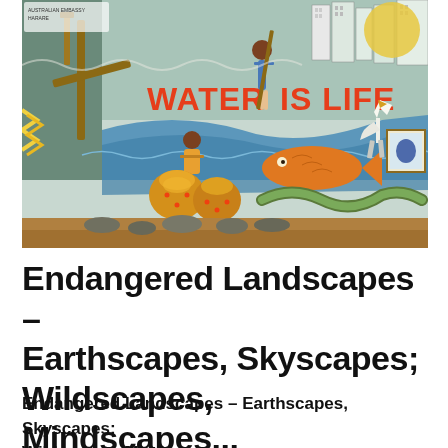[Figure (photo): A colorful mural on a wall reading 'WATER IS LIFE' in large orange letters. The mural depicts two people collecting water with traditional clay pots, a fish, a river/water element, a heron/egret bird, cityscape buildings in the background, and decorative patterns. The scene is painted on an outdoor wall with dirt ground visible below.]
Endangered Landscapes – Earthscapes, Skyscapes; Wildscapes, Mindscapes...
Endangered Landscapes – Earthscapes, Skyscapes; Wildscapes, Mindscapes...